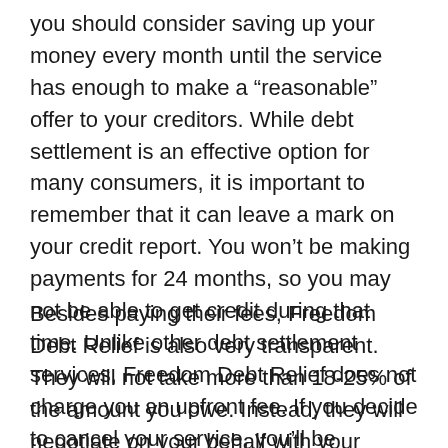you should consider saving up your money every month until the service has enough to make a “reasonable” offer to your creditors. While debt settlement is an effective option for many consumers, it is important to remember that it can leave a mark on your credit report. You won’t be making payments for 24 months, so you may not be able to get credit during that time. Unlike other debt settlement services, Freedom Debt Relief does not charge you an upfront fee. If you decide to cancel your service, you’ll be charged only after the service has settled your debt.
Besides paying their fees, Freedom Debt Relief is also very transparent. They will not take more than 18-25% of the amount you owe. Instead, they will negotiate on your behalf with your creditors to get a lower payoff amount. The f re based on their estimate of the amount you’ll owe during the